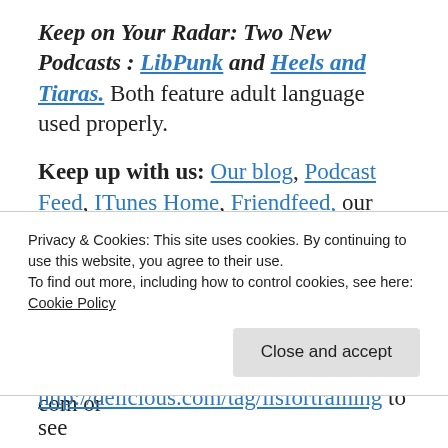Keep on Your Radar: Two New Podcasts : LibPunk and Heels and Tiaras. Both feature adult language used properly.
Keep up with us: Our blog, Podcast Feed, ITunes Home, Friendfeed, our Google Group, (pretty please join the google group!) LinkedIn, FaceBook, Twitter, a brand new Flickr group, Diigo Group and our Twitter Twibe.
Contact Us: baldgeekinmd at gmail dot com or
Privacy & Cookies: This site uses cookies. By continuing to use this website, you agree to their use.
To find out more, including how to control cookies, see here:
Cookie Policy
Close and accept
http://delicious.com/tag/lisfortraining to see